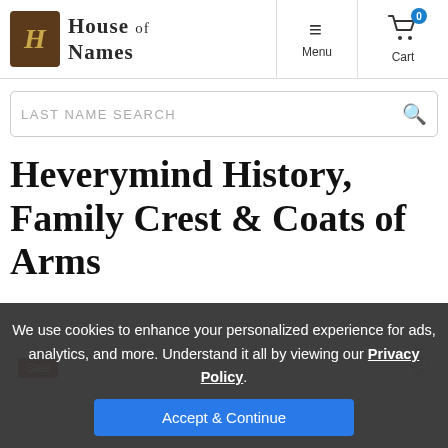House of Names — Menu — Cart (0)
LAST NAME SEARCH
Heverymind History, Family Crest & Coats of Arms
We use cookies to enhance your personalized experience for ads, analytics, and more. Understand it all by viewing our Privacy Policy.
Accept & Continue